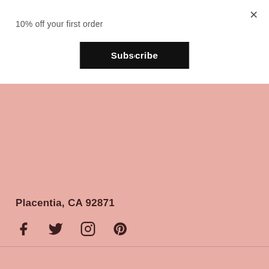×
10% off your first order
Subscribe
Placentia, CA 92871
[Figure (illustration): Social media icons: Facebook, Twitter, Instagram, Pinterest]
© CUTE SASS™
[Figure (illustration): Payment method icons: AMEX, Apple Pay, Diners Club, Discover, Meta Pay, Google Pay, Mastercard, ShopPay, Visa]